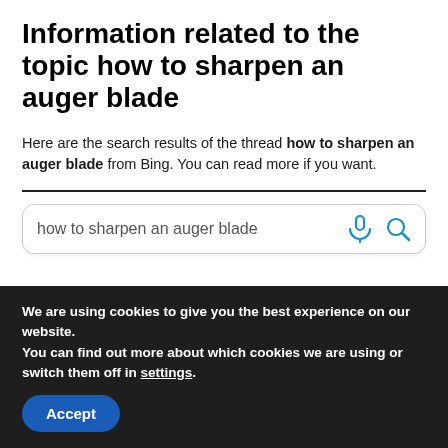Information related to the topic how to sharpen an auger blade
Here are the search results of the thread how to sharpen an auger blade from Bing. You can read more if you want.
[Figure (screenshot): Search box with text 'how to sharpen an auger blade' and microphone and search icons on the right]
We are using cookies to give you the best experience on our website.
You can find out more about which cookies we are using or switch them off in settings.
Accept